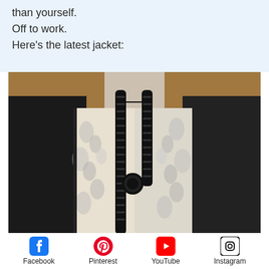than yourself.
Off to work.
Here's the latest jacket:
[Figure (photo): A mannequin torso displaying a black and white floral/tropical print jacket with thick black braided trim along the neckline and front opening, and a large black button closure. The jacket is displayed in what appears to be a sewing or craft studio environment.]
Facebook   Pinterest   YouTube   Instagram